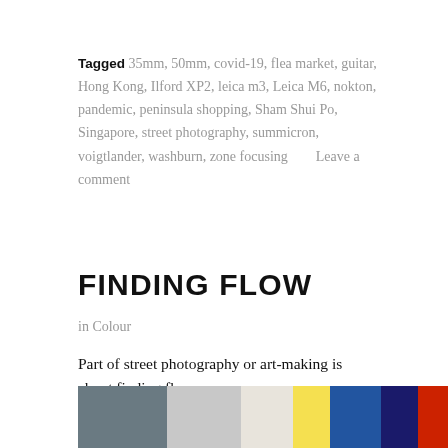Tagged 35mm, 50mm, covid-19, flea market, guitar, Hong Kong, Ilford XP2, leica m3, Leica M6, nokton, pandemic, peninsula shopping, Sham Shui Po, Singapore, street photography, summicron, voigtlander, washburn, zone focusing     Leave a comment
FINDING FLOW
in Colour
Part of street photography or art-making is about finding flow.
[Figure (photo): A horizontal strip photo showing outdoor market or street stall scene with colorful garments hanging including blue, white, yellow and red items on display]